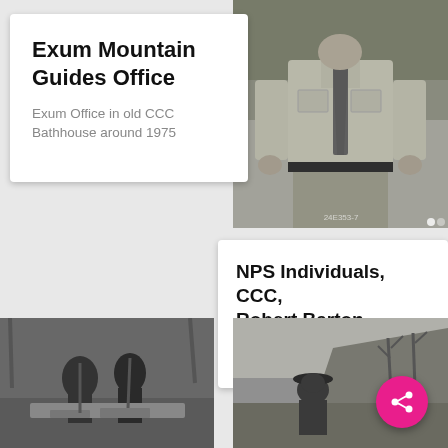Exum Mountain Guides Office
Exum Office in old CCC Bathhouse around 1975
[Figure (photo): Black and white photograph of a man in uniform shirt with tie, standing outdoors with foliage behind him, cropped from shoulders to knees]
NPS Individuals, CCC, Robert Barton.
SEKI Historic Image
[Figure (photo): Black and white photograph of workers outdoors, appears to show people working on stone or construction, trees in background]
[Figure (photo): Black and white photograph of a person wearing a hat standing outdoors with bare trees and rocky hillside in background]